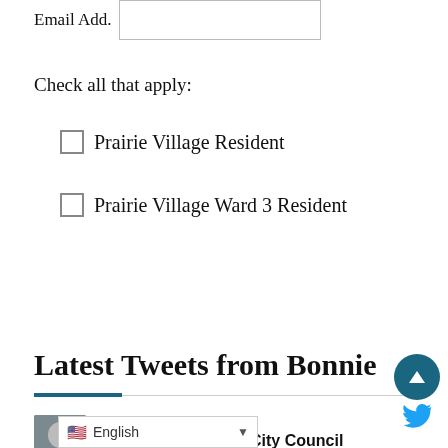Email Add.
Check all that apply:
Prairie Village Resident
Prairie Village Ward 3 Resident
Sign up
Latest Tweets from Bonnie
Bonnie Limbird, PV City Council